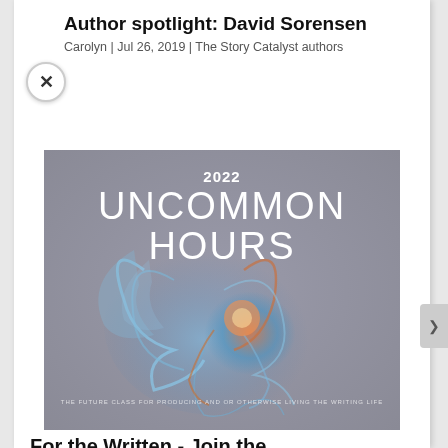Author spotlight: David Sorensen
Carolyn | Jul 26, 2019 | The Story Catalyst authors
[Figure (illustration): Book cover for '2022 Uncommon Hours' — grey background with a glowing blue and orange abstract creature/jellyfish form, white text reading '2022 UNCOMMON HOURS' and small subtitle text at the bottom.]
For the Written - Join the Story Catalyst mailing list